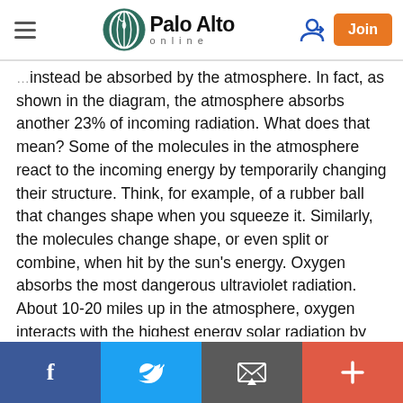Palo Alto online
instead be absorbed by the atmosphere. In fact, as shown in the diagram, the atmosphere absorbs another 23% of incoming radiation. What does that mean? Some of the molecules in the atmosphere react to the incoming energy by temporarily changing their structure. Think, for example, of a rubber ball that changes shape when you squeeze it. Similarly, the molecules change shape, or even split or combine, when hit by the sun’s energy. Oxygen absorbs the most dangerous ultraviolet radiation. About 10-20 miles up in the atmosphere, oxygen interacts with the highest energy solar radiation by converting into ozone, keeping the dangerous radiation away from the planet. (4) The lower-energy solar radiation that isn’t
f  [Twitter bird icon]  [email icon]  +